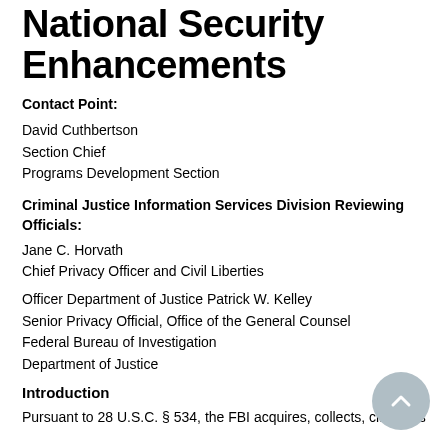National Security Enhancements
Contact Point:
David Cuthbertson
Section Chief
Programs Development Section
Criminal Justice Information Services Division Reviewing Officials:
Jane C. Horvath
Chief Privacy Officer and Civil Liberties
Officer Department of Justice Patrick W. Kelley
Senior Privacy Official, Office of the General Counsel
Federal Bureau of Investigation
Department of Justice
Introduction
Pursuant to 28 U.S.C. § 534, the FBI acquires, collects, classifies